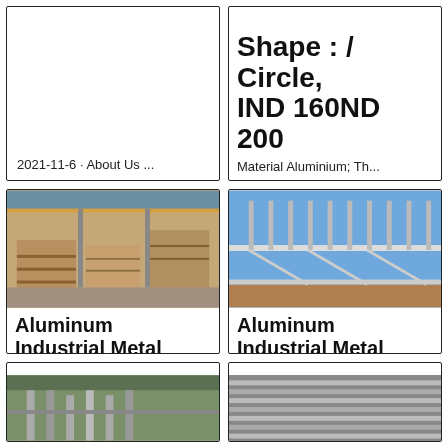2021-11-6 · About Us ...
Shape : / Circle, IND 160ND 200 ... Material Aluminium; Th...
[Figure (photo): Interior of a metal warehouse with stacked aluminum sheets and pallets]
Aluminum Industrial Metal & Alloy Discs for sale | Dis...
Aluminum Disk round ...
[Figure (photo): Aluminum structural framework / bridge-like structure outdoors under blue sky]
Aluminum Industrial Metal & Alloy Discs for sale | Dis...
Aluminum Disk round ...
[Figure (photo): Industrial facility interior, bottom-left card, partially visible]
[Figure (photo): Close-up of stacked aluminum or metal sheets, bottom-right card, partially visible]